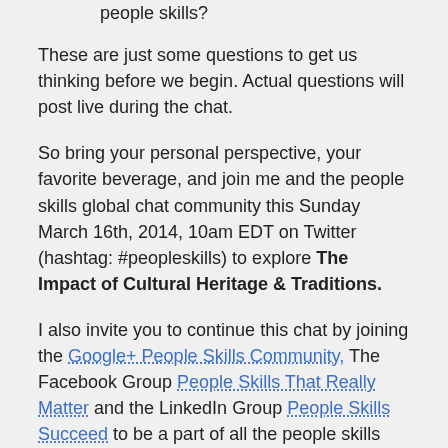people skills?
These are just some questions to get us thinking before we begin. Actual questions will post live during the chat.
So bring your personal perspective, your favorite beverage, and join me and the people skills global chat community this Sunday March 16th, 2014, 10am EDT on Twitter (hashtag: #peopleskills) to explore The Impact of Cultural Heritage & Traditions.
I also invite you to continue this chat by joining the Google+ People Skills Community, The Facebook Group People Skills That Really Matter and the LinkedIn Group People Skills Succeed to be a part of all the people skills discussions everyday 24×7. Get your people skills community member badge here.